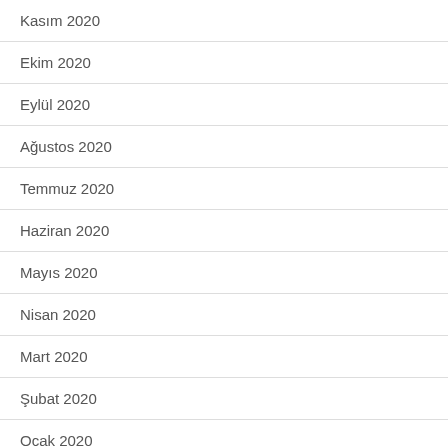Kasım 2020
Ekim 2020
Eylül 2020
Ağustos 2020
Temmuz 2020
Haziran 2020
Mayıs 2020
Nisan 2020
Mart 2020
Şubat 2020
Ocak 2020
Aralık 2019
Kasım 2019
Ekim 2019